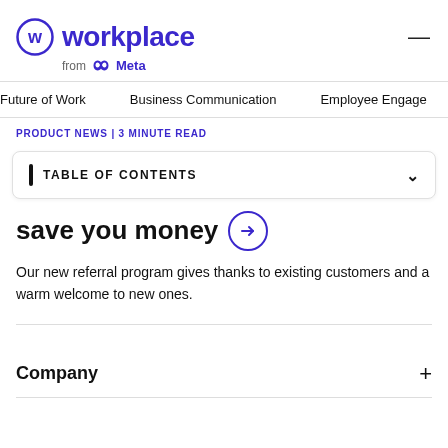[Figure (logo): Workplace from Meta logo with circular W icon in indigo/purple color]
Future of Work   Business Communication   Employee Engage
PRODUCT NEWS | 3 MINUTE READ
TABLE OF CONTENTS
save you money →
Our new referral program gives thanks to existing customers and a warm welcome to new ones.
Company +